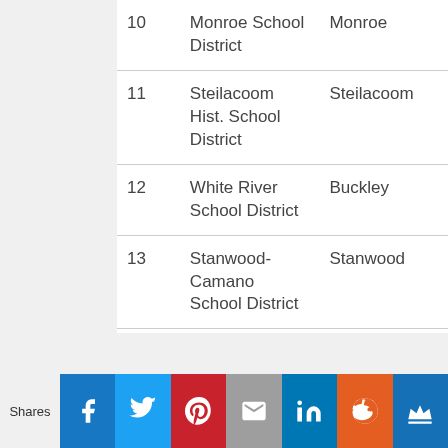| # | District | City |
| --- | --- | --- |
| 10 | Monroe School District | Monroe |
| 11 | Steilacoom Hist. School District | Steilacoom |
| 12 | White River School District | Buckley |
| 13 | Stanwood-Camano School District | Stanwood |
Shares | Facebook | Twitter | Pinterest | Email | LinkedIn | Reddit | Crown